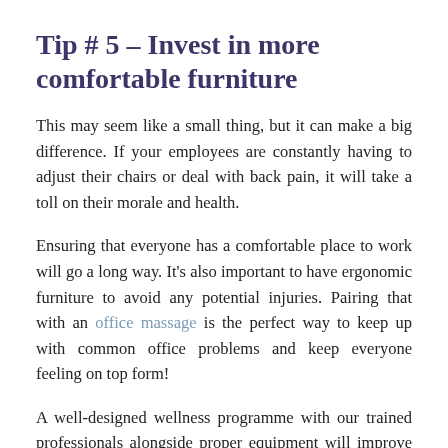Tip # 5 – Invest in more comfortable furniture
This may seem like a small thing, but it can make a big difference. If your employees are constantly having to adjust their chairs or deal with back pain, it will take a toll on their morale and health.
Ensuring that everyone has a comfortable place to work will go a long way. It's also important to have ergonomic furniture to avoid any potential injuries. Pairing that with an office massage is the perfect way to keep up with common office problems and keep everyone feeling on top form!
A well-designed wellness programme with our trained professionals alongside proper equipment will improve workplace stress and the morale of your workforce, to help to keep them productive.